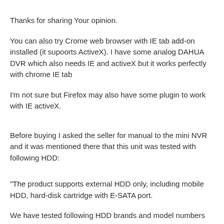Thanks for sharing Your opinion.
You can also try Crome web browser with IE tab add-on installed (it supoorts ActiveX). I have some analog DAHUA DVR which also needs IE and activeX but it works perfectly with chrome IE tab
I'm not sure but Firefox may also have some plugin to work with IE activeX.
Before buying I asked the seller for manual to the mini NVR and it was mentioned there that this unit was tested with following HDD:
"The product supports external HDD only, including mobile HDD, hard-disk cartridge with E-SATA port.
We have tested following HDD brands and model numbers work with the mini NVR: